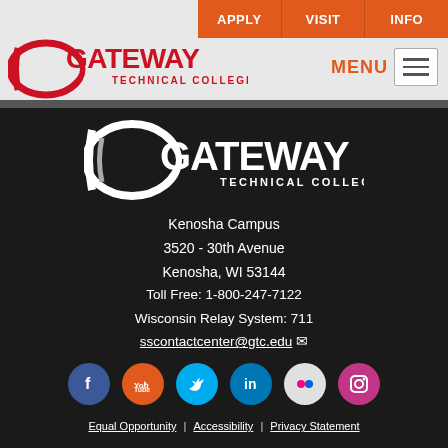[Figure (logo): Gateway Technical College logo in red on gray header]
APPLY | VISIT | INFO
[Figure (logo): Gateway Technical College logo in white on dark footer background]
Kenosha Campus
3520 - 30th Avenue
Kenosha, WI 53144
Toll Free: 1-800-247-7122
Wisconsin Relay System: 711
sscontactcenter@gtc.edu
[Figure (infographic): Social media icons: Facebook (blue), YouTube (red-orange), Twitter (cyan), LinkedIn (blue), Flickr (white/gray), Instagram (pink)]
Equal Opportunity | Accessibility | Privacy Statement